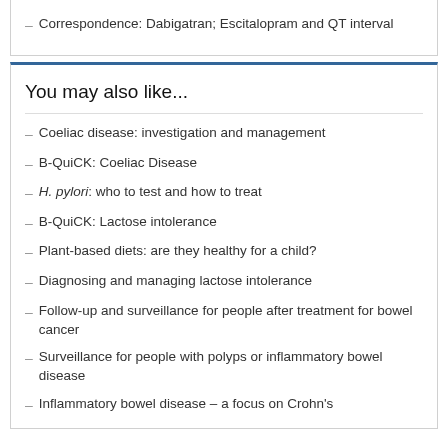Correspondence: Dabigatran; Escitalopram and QT interval
You may also like...
Coeliac disease: investigation and management
B-QuiCK: Coeliac Disease
H. pylori: who to test and how to treat
B-QuiCK: Lactose intolerance
Plant-based diets: are they healthy for a child?
Diagnosing and managing lactose intolerance
Follow-up and surveillance for people after treatment for bowel cancer
Surveillance for people with polyps or inflammatory bowel disease
Inflammatory bowel disease – a focus on Crohn's